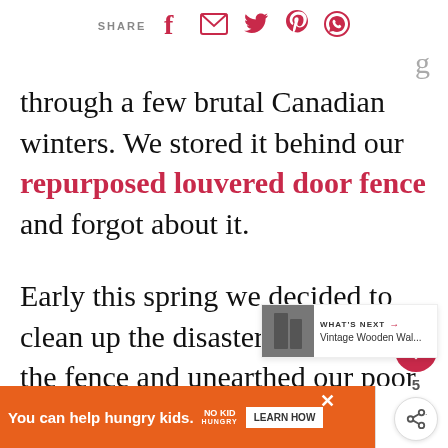SHARE [facebook] [email] [twitter] [pinterest] [whatsapp]
through a few brutal Canadian winters. We stored it behind our repurposed louvered door fence and forgot about it.
Early this spring we decided to clean up the disaster zone behind the fence and unearthed our poor tete-a-tete. I asked our daughter if she'd like it for her deck and without hesitation she said yes.